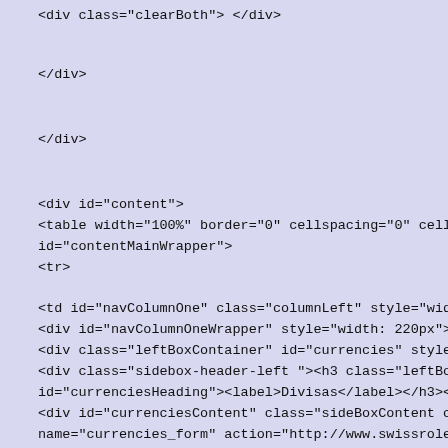<div class="clearBoth"> </div>
</div>
</div>
<div id="content">
<table width="100%" border="0" cellspacing="0" cellpadding=
id="contentMainWrapper">
<tr>

<td id="navColumnOne" class="columnLeft" style="width: 220
<div id="navColumnOneWrapper" style="width: 220px">
<div class="leftBoxContainer" id="currencies" style="width: 22
<div class="sidebox-header-left "><h3 class="leftBoxHeading "
id="currenciesHeading"><label>Divisas</label></h3></div>
<div id="currenciesContent" class="sideBoxContent centeredC
name="currencies_form" action="http://www.swissrolexwatch.
method="get"><select name="currency" onchange="this.form.s
<option value="USD">US Dollar</option>
<option value="EUR" selected="selected">Euro</option>
<option value="GBP">GB Pound</option>